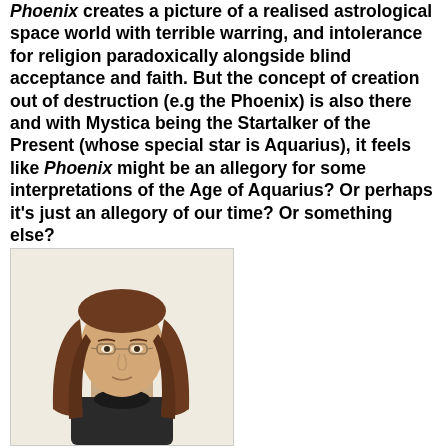Phoenix creates a picture of a realised astrological space world with terrible warring, and intolerance for religion paradoxically alongside blind acceptance and faith. But the concept of creation out of destruction (e.g the Phoenix) is also there and with Mystica being the Startalker of the Present (whose special star is Aquarius), it feels like Phoenix might be an allegory for some interpretations of the Age of Aquarius? Or perhaps it's just an allegory of our time? Or something else?
[Figure (photo): Portrait photo of a person with long brown hair and glasses, wearing a dark turtleneck, against a light background. The photo is positioned in the lower-left portion of the page.]